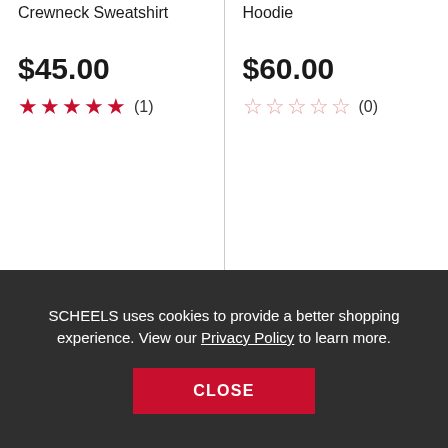Crewneck Sweatshirt
Hoodie
$45.00
$60.00
★★★★★ (1)
☆☆☆☆☆ (0)
SCHEELS uses cookies to provide a better shopping experience. View our Privacy Policy to learn more.
CLOSE